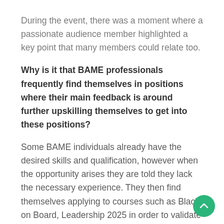During the event, there was a moment where a passionate audience member highlighted a key point that many members could relate too.
Why is it that BAME professionals frequently find themselves in positions where their main feedback is around further upskilling themselves to get into these positions?
Some BAME individuals already have the desired skills and qualification, however when the opportunity arises they are told they lack the necessary experience. They then find themselves applying to courses such as Black on Board, Leadership 2025 in order to validate their